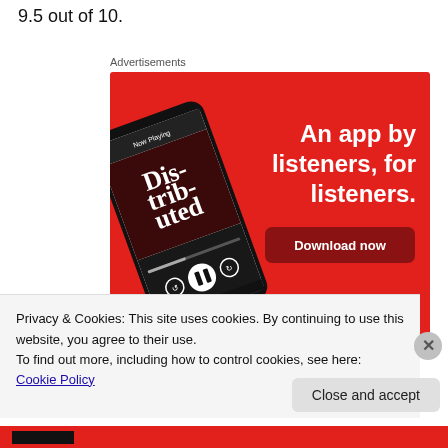9.5 out of 10.
Advertisements
[Figure (illustration): Red advertisement banner for a podcast app showing a smartphone with the app open displaying 'Distributed' podcast, with text 'An app by listeners, for listeners.' and a 'Download now' button on a red background.]
Privacy & Cookies: This site uses cookies. By continuing to use this website, you agree to their use.
To find out more, including how to control cookies, see here: Cookie Policy
Close and accept